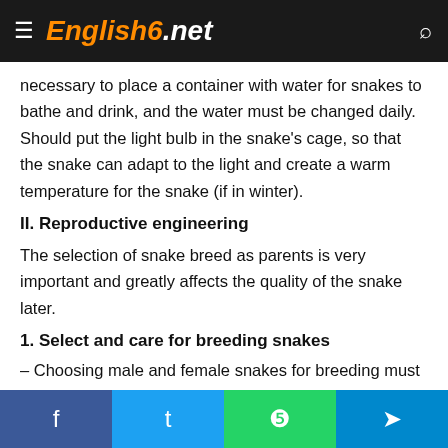English6.net
necessary to place a container with water for snakes to bathe and drink, and the water must be changed daily. Should put the light bulb in the snake's cage, so that the snake can adapt to the light and create a warm temperature for the snake (if in winter).
II. Reproductive engineering
The selection of snake breed as parents is very important and greatly affects the quality of the snake later.
1. Select and care for breeding snakes
– Choosing male and female snakes for breeding must be